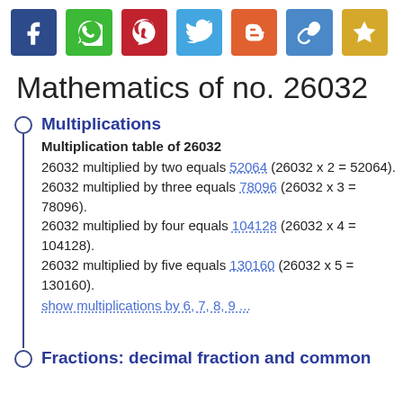[Figure (other): Social media sharing icons bar: Facebook (blue), WhatsApp (green), Pinterest (red), Twitter (light blue), Blogger (orange), Link (blue), Bookmark (yellow)]
Mathematics of no. 26032
Multiplications
Multiplication table of 26032
26032 multiplied by two equals 52064 (26032 x 2 = 52064).
26032 multiplied by three equals 78096 (26032 x 3 = 78096).
26032 multiplied by four equals 104128 (26032 x 4 = 104128).
26032 multiplied by five equals 130160 (26032 x 5 = 130160).
show multiplications by 6, 7, 8, 9 ...
Fractions: decimal fraction and common